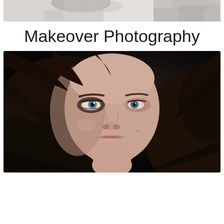[Figure (photo): Black and white photograph (cropped top portion) showing two people, appearing to be a parent and child or two children, in a playful or affectionate pose. Only the top portion of the image is visible.]
Makeover Photography
[Figure (photo): Close-up color portrait photograph of a young woman with long dark brown wavy hair, blue eyes, and pink lips. She is wearing makeup and looking slightly upward. The background is very dark/black. The image is cropped to show her face and the top of her shoulders.]